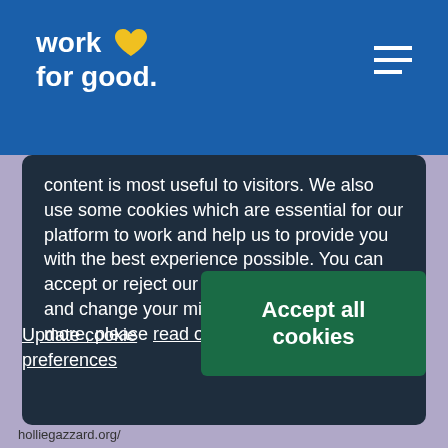work for good.
content is most useful to visitors. We also use some cookies which are essential for our platform to work and help us to provide you with the best experience possible. You can accept or reject our non-essential cookies and change your mind at any time. To learn more, please read our cookies policy.
Update cookie preferences
Accept all cookies
holliegazzard.org/